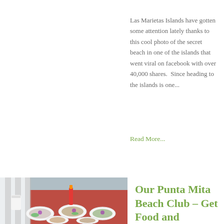Las Marietas Islands have gotten some attention lately thanks to this cool photo of the secret beach in one of the islands that went viral on facebook with over 40,000 shares.  Since heading to the islands is one...
Read More...
[Figure (photo): A photo of a beach club table spread with multiple plates of food on a red tablecloth, outdoors on the beach.]
Our Punta Mita Beach Club – Get Food and